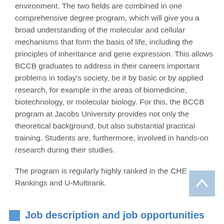environment. The two fields are combined in one comprehensive degree program, which will give you a broad understanding of the molecular and cellular mechanisms that form the basis of life, including the principles of inheritance and gene expression. This allows BCCB graduates to address in their careers important problems in today's society, be it by basic or by applied research, for example in the areas of biomedicine, biotechnology, or molecular biology. For this, the BCCB program at Jacobs University provides not only the theoretical background, but also substantial practical training. Students are, furthermore, involved in hands-on research during their studies.

The program is regularly highly ranked in the CHE Rankings and U-Multirank.
Job description and job opportunities